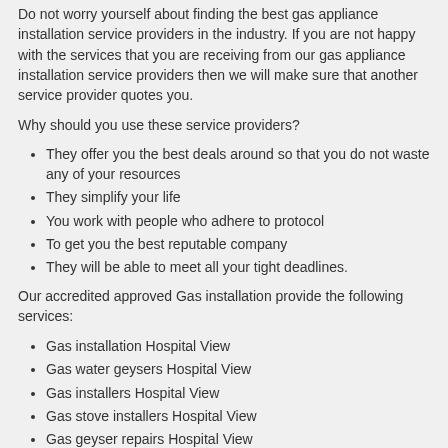Do not worry yourself about finding the best gas appliance installation service providers in the industry. If you are not happy with the services that you are receiving from our gas appliance installation service providers then we will make sure that another service provider quotes you.
Why should you use these service providers?
They offer you the best deals around so that you do not waste any of your resources
They simplify your life
You work with people who adhere to protocol
To get you the best reputable company
They will be able to meet all your tight deadlines.
Our accredited approved Gas installation provide the following services:
Gas installation Hospital View
Gas water geysers Hospital View
Gas installers Hospital View
Gas stove installers Hospital View
Gas geyser repairs Hospital View
Gas fireplace coc Hospital View
Gas fire installers Hospital View
Gas installations Hospital View
Gas water geyser Hospital View
Gas repairs Hospital View